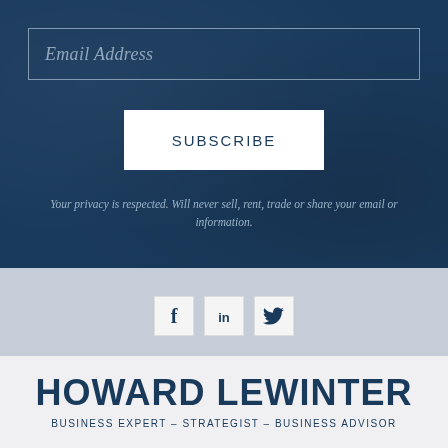Email Address
SUBSCRIBE
Your privacy is respected. Will never sell, rent, trade or share your email or information.
[Figure (other): Social media icons: Facebook (f), LinkedIn (in), Twitter (bird)]
HOWARD LEWINTER
BUSINESS EXPERT – STRATEGIST – BUSINESS ADVISOR